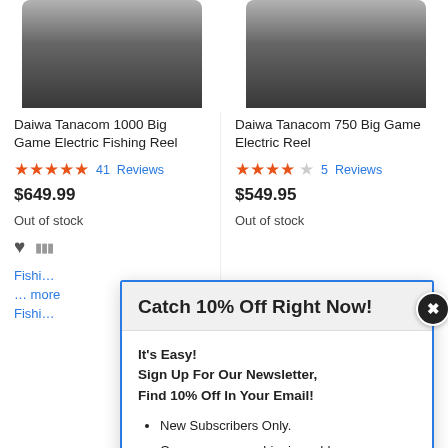[Figure (photo): Top portion of two fishing reels (Daiwa Tanacom 1000 and 750) cropped at top of page]
Daiwa Tanacom 1000 Big Game Electric Fishing Reel
★★★★★ 41 Reviews
$649.99
Out of stock
Daiwa Tanacom 750 Big Game Electric Reel
★★★★☆ 5 Reviews
$549.95
Out of stock
Fishing...
... more
Fishi...
Catch 10% Off Right Now!
It's Easy!
Sign Up For Our Newsletter, Find 10% Off In Your Email!
New Subscribers Only.
One coupon per shipping address.